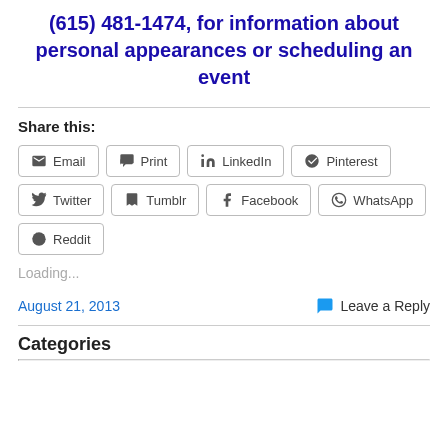(615) 481-1474, for information about personal appearances or scheduling an event
Share this:
Email  Print  LinkedIn  Pinterest  Twitter  Tumblr  Facebook  WhatsApp  Reddit
Loading...
August 21, 2013
Leave a Reply
Categories